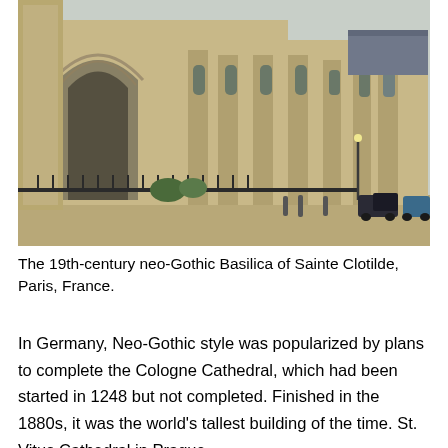[Figure (photo): Photograph of the 19th-century neo-Gothic Basilica of Sainte Clotilde in Paris, France. The image shows the stone facade with ornate Gothic arches, buttresses, and spires. Street level shows iron fencing, motorcycles and cars parked nearby.]
The 19th-century neo-Gothic Basilica of Sainte Clotilde, Paris, France.
In Germany, Neo-Gothic style was popularized by plans to complete the Cologne Cathedral, which had been started in 1248 but not completed. Finished in the 1880s, it was the world's tallest building of the time. St. Vitus Cathedral in Prague,